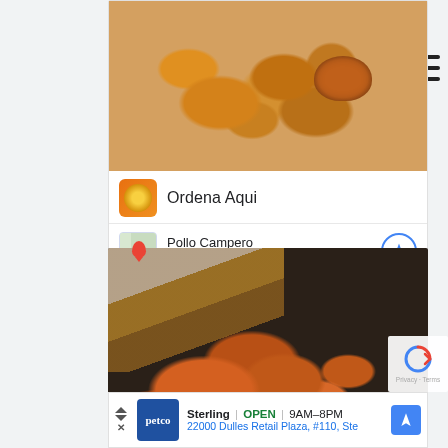[Figure (photo): Photo of fried chicken nuggets on a white plate with a dark bowl of dipping sauce, placed on a light cloth]
Ordena Aqui
Pollo Campero
Herndon 10AM–10PM
[Figure (photo): Close-up photo of roasted carrots with seeds and cream sauce being served with a fork and spoon]
Sterling OPEN | 9AM–8PM
22000 Dulles Retail Plaza, #110, Ste